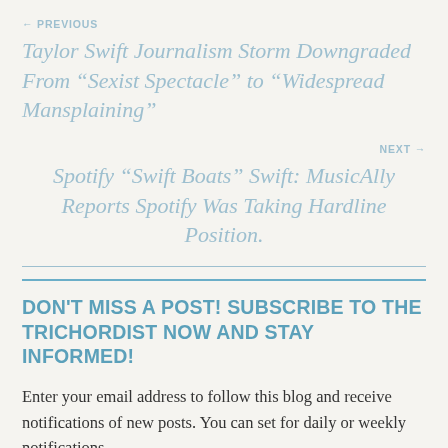← PREVIOUS
Taylor Swift Journalism Storm Downgraded From “Sexist Spectacle” to “Widespread Mansplaining”
NEXT →
Spotify “Swift Boats” Swift: MusicAlly Reports Spotify Was Taking Hardline Position.
DON'T MISS A POST! SUBSCRIBE TO THE TRICHORDIST NOW AND STAY INFORMED!
Enter your email address to follow this blog and receive notifications of new posts. You can set for daily or weekly notifications.